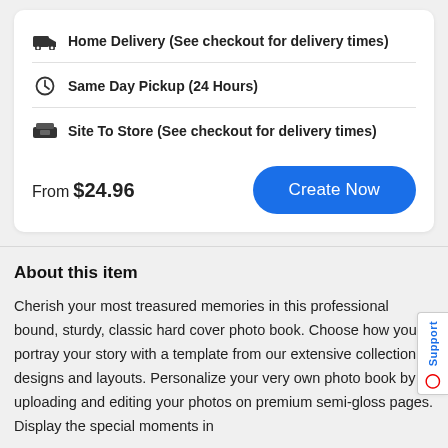Home Delivery (See checkout for delivery times)
Same Day Pickup (24 Hours)
Site To Store (See checkout for delivery times)
From $24.96
Create Now
About this item
Cherish your most treasured memories in this professional bound, sturdy, classic hard cover photo book. Choose how you portray your story with a template from our extensive collection of designs and layouts. Personalize your very own photo book by uploading and editing your photos on premium semi-gloss pages. Display the special moments in